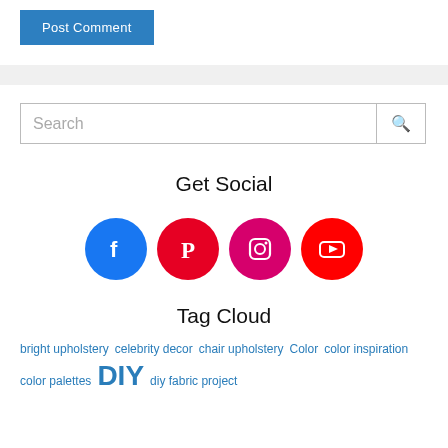Post Comment
[Figure (other): Search bar with text input and search icon button]
Get Social
[Figure (infographic): Four social media icons in circles: Facebook (blue), Pinterest (red), Instagram (pink/red), YouTube (red)]
Tag Cloud
bright upholstery   celebrity decor   chair upholstery   Color   color inspiration   color palettes   DIY   diy fabric project